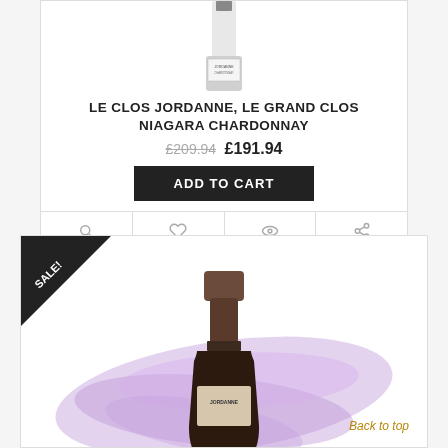[Figure (photo): Top portion of a wine bottle (Le Clos Jordanne Chardonnay) visible at top of card]
LE CLOS JORDANNE, LE GRAND CLOS NIAGARA CHARDONNAY
£209.94 £191.94
ADD TO CART
DETAILS
WISHLIST
COMPARE
SHARE
[Figure (photo): Wine bottle with a dark label, purple brushstroke background design, SALE! badge in top-left corner]
Back to top